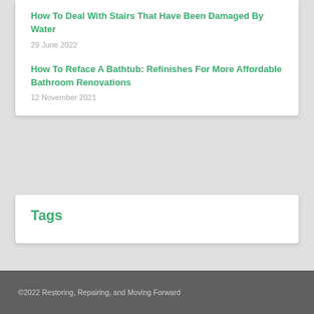How To Deal With Stairs That Have Been Damaged By Water
29 June 2022
How To Reface A Bathtub: Refinishes For More Affordable Bathroom Renovations
12 November 2021
Tags
©2022 Restoring, Repairing, and Moving Forward